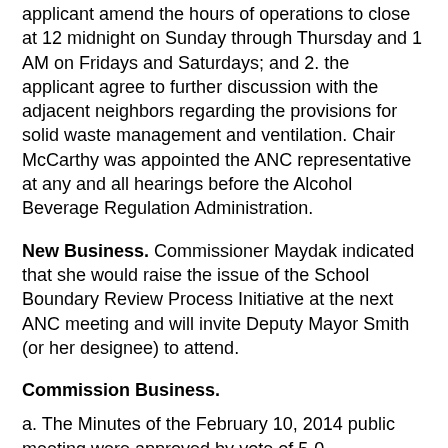applicant amend the hours of operations to close at 12 midnight on Sunday through Thursday and 1 AM on Fridays and Saturdays; and 2. the applicant agree to further discussion with the adjacent neighbors regarding the provisions for solid waste management and ventilation. Chair McCarthy was appointed the ANC representative at any and all hearings before the Alcohol Beverage Regulation Administration.
New Business. Commissioner Maydak indicated that she would raise the issue of the School Boundary Review Process Initiative at the next ANC meeting and will invite Deputy Mayor Smith (or her designee) to attend.
Commission Business.
a. The Minutes of the February 10, 2014 public meeting were approved by vote of 5-0
b. Checks: none
c. The Commission noted its approval of a new computer software to replace Window XP which no longer be